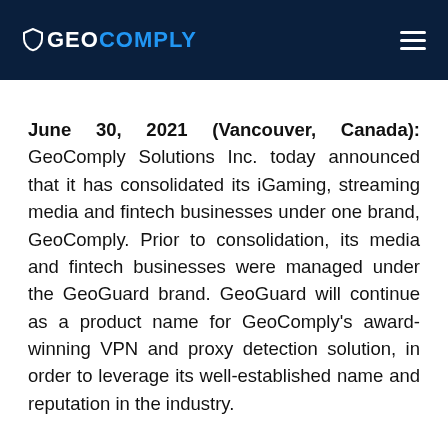GEOCOMPLY
June 30, 2021 (Vancouver, Canada): GeoComply Solutions Inc. today announced that it has consolidated its iGaming, streaming media and fintech businesses under one brand, GeoComply. Prior to consolidation, its media and fintech businesses were managed under the GeoGuard brand. GeoGuard will continue as a product name for GeoComply's award-winning VPN and proxy detection solution, in order to leverage its well-established name and reputation in the industry.